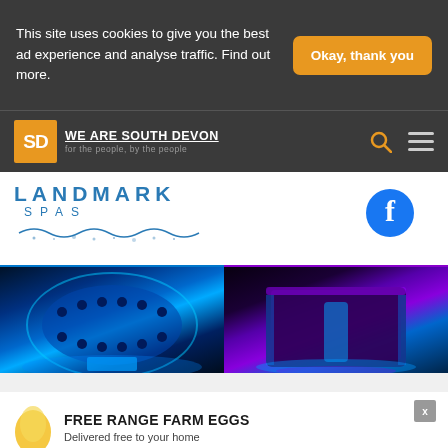This site uses cookies to give you the best ad experience and analyse traffic. Find out more.
Okay, thank you
[Figure (logo): SD logo box and We Are South Devon site logo with tagline 'for the people, by the people']
[Figure (logo): Landmark Spas logo with water wave graphic and Facebook circle icon]
[Figure (photo): Two side-by-side photos of hot tubs lit with blue and purple LED lighting against dark backgrounds]
FREE RANGE FARM EGGS
Delivered free to your home